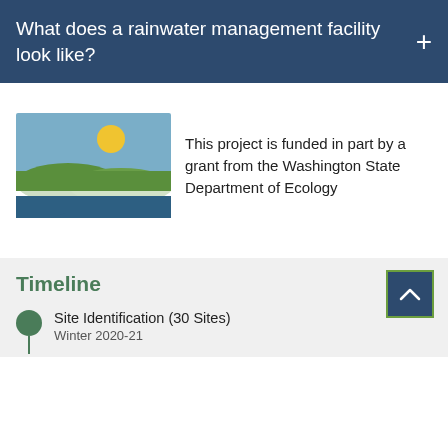What does a rainwater management facility look like?
[Figure (logo): Washington State Department of Ecology logo — outline of Washington state with blue sky, yellow sun, green hills, and blue water stripes]
This project is funded in part by a grant from the Washington State Department of Ecology
Timeline
Site Identification (30 Sites)
Winter 2020-21